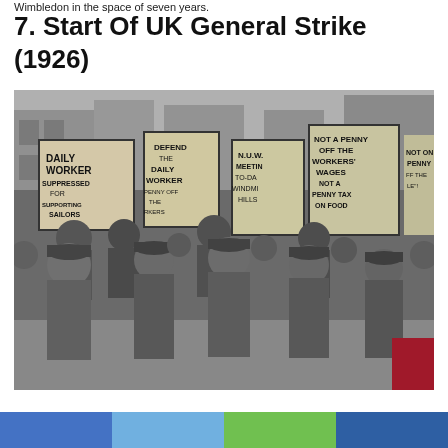Wimbledon in the space of seven years.
7. Start Of UK General Strike (1926)
[Figure (photo): Black and white historical photograph of workers marching during the 1926 UK General Strike, carrying protest signs including 'Daily Worker Suppressed For Supporting Sailors', 'Defend The Daily Worker', 'N.U.W. Meeting To-Day Windmill Hills', 'Not A Penny Off The Workers Wages Not A Penny Tax On Food', and other signs.]